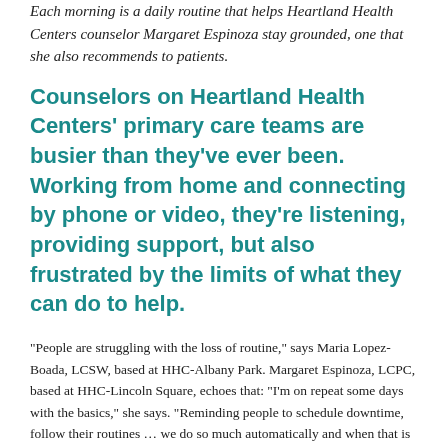Each morning is a daily routine that helps Heartland Health Centers counselor Margaret Espinoza stay grounded, one that she also recommends to patients.
Counselors on Heartland Health Centers' primary care teams are busier than they've ever been. Working from home and connecting by phone or video, they're listening, providing support, but also frustrated by the limits of what they can do to help.
"People are struggling with the loss of routine," says Maria Lopez-Boada, LCSW, based at HHC-Albany Park. Margaret Espinoza, LCPC, based at HHC-Lincoln Square, echoes that: "I'm on repeat some days with the basics," she says. "Reminding people to schedule downtime, follow their routines … we do so much automatically and when that is stripped from people they become emotionally fatigued."
The two women are among 11 staff and 3 contracted